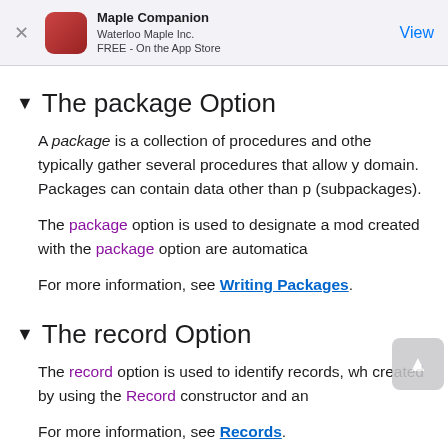Maple Companion
Waterloo Maple Inc.
FREE - On the App Store
The package Option
A package is a collection of procedures and other objects. Packages typically gather several procedures that allow you to work within a specific domain. Packages can contain data other than procedures, and other packages (subpackages).
The package option is used to designate a module as a package. Modules created with the package option are automatically...
For more information, see Writing Packages.
The record Option
The record option is used to identify records, which are modules created by using the Record constructor and an...
For more information, see Records.